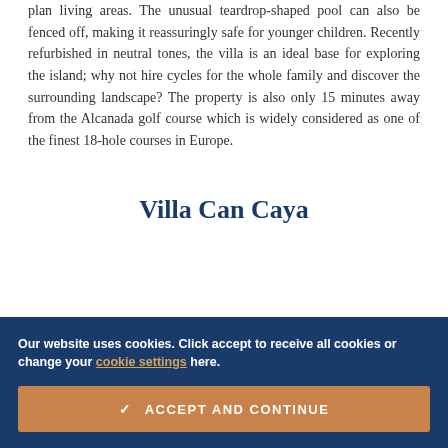plan living areas. The unusual teardrop-shaped pool can also be fenced off, making it reassuringly safe for younger children. Recently refurbished in neutral tones, the villa is an ideal base for exploring the island; why not hire cycles for the whole family and discover the surrounding landscape? The property is also only 15 minutes away from the Alcanada golf course which is widely considered as one of the finest 18-hole courses in Europe.
Villa Can Caya
Our website uses cookies. Click accept to receive all cookies or change your cookie settings here.
ACCEPT AND CONTINUE